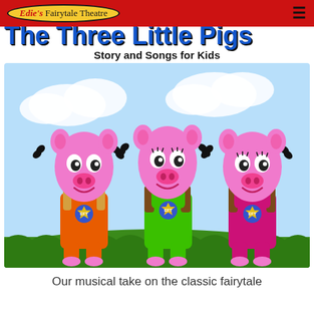Edie's Fairytale Theatre
The Three Little Pigs
Story and Songs for Kids
[Figure (illustration): Cartoon illustration of three smiling pink pigs in colorful overalls (orange, green, and magenta) with arms raised, standing in front of a blue sky and green grass. Each pig wears a circular badge with 'EFT' on it.]
Our musical take on the classic fairytale